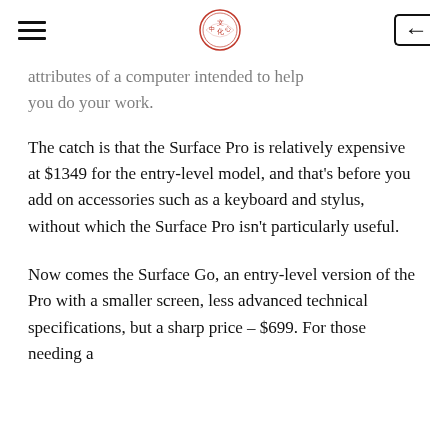[hamburger menu] [seal logo] [back button]
attributes of a computer intended to help you do your work.
The catch is that the Surface Pro is relatively expensive at $1349 for the entry-level model, and that's before you add on accessories such as a keyboard and stylus, without which the Surface Pro isn't particularly useful.
Now comes the Surface Go, an entry-level version of the Pro with a smaller screen, less advanced technical specifications, but a sharp price – $699. For those needing a